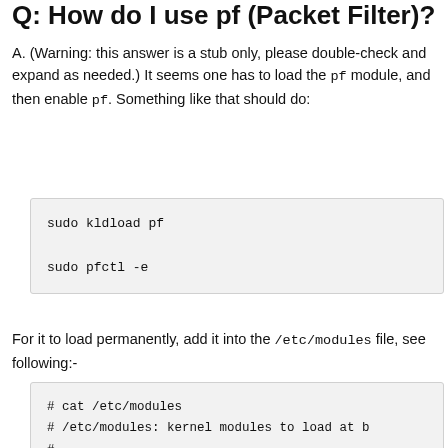Q: How do I use pf (Packet Filter)?
A. (Warning: this answer is a stub only, please double-check and expand as needed.) It seems one has to load the pf module, and then enable pf. Something like that should do:
sudo kldload pf
sudo pfctl -e
For it to load permanently, add it into the /etc/modules file, see following:-
# cat /etc/modules
# /etc/modules: kernel modules to load at b
#
# This file should contain the names of ker